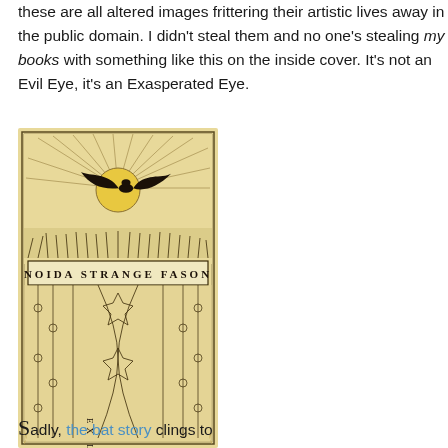these are all altered images frittering their artistic lives away in the public domain. I didn't steal them and no one's stealing my books with something like this on the inside cover. It's not an Evil Eye, it's an Exasperated Eye.
[Figure (illustration): An antique bookplate illustration on yellowed paper showing a bat flying over a landscape with a large sun in the background, and below a banner reading 'NOIDA STRANGE FASON', with decorative floral/plant motifs in the lower half and 'EX LIBRIS' text vertically along the side.]
Sadly, the bat story clings to